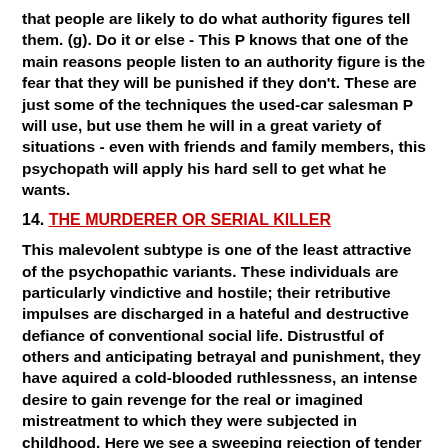that people are likely to do what authority figures tell them. (g). Do it or else - This P knows that one of the main reasons people listen to an authority figure is the fear that they will be punished if they don't. These are just some of the techniques the used-car salesman P will use, but use them he will in a great variety of situations - even with friends and family members, this psychopath will apply his hard sell to get what he wants.
14. THE MURDERER OR SERIAL KILLER
This malevolent subtype is one of the least attractive of the psychopathic variants. These individuals are particularly vindictive and hostile; their retributive impulses are discharged in a hateful and destructive defiance of conventional social life. Distrustful of others and anticipating betrayal and punishment, they have aquired a cold-blooded ruthlessness, an intense desire to gain revenge for the real or imagined mistreatment to which they were subjected in childhood. Here we see a sweeping rejection of tender emotions and a deep suspicion that others' efforts at goodwill are merely